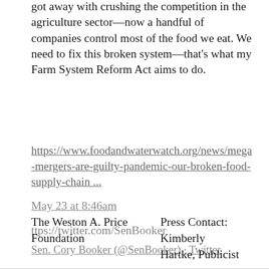got away with crushing the competition in the agriculture sector—now a handful of companies control most of the food we eat. We need to fix this broken system—that's what my Farm System Reform Act aims to do.
https://www.foodandwaterwatch.org/news/mega-mergers-are-guilty-pandemic-our-broken-food-supply-chain ...
May 23 at 8:46am
ttps://twitter.com/SenBooker
Sen. Cory Booker (@SenBooker) · Twitter
The Weston A. Price Foundation
Press Contact: Kimberly Hartke, Publicist